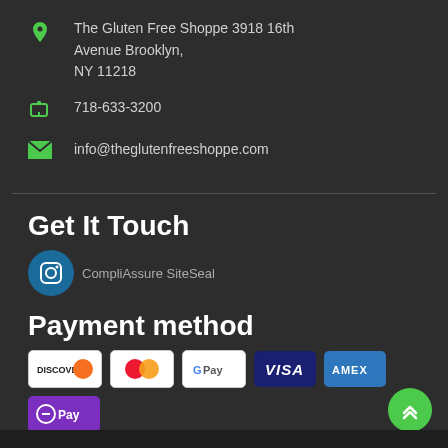The Gluten Free Shoppe 3918 16th Avenue Brooklyn, NY 11218
718-633-3200
info@theglutenfreeshoppe.com
Get It Touch
[Figure (other): Instagram social media button (blue circle with Instagram icon) and CompliAssure SiteSeal text]
Payment method
[Figure (other): Payment method logos: Discover, Mastercard, Google Pay, Visa, American Express (AMEX), and O Pay]